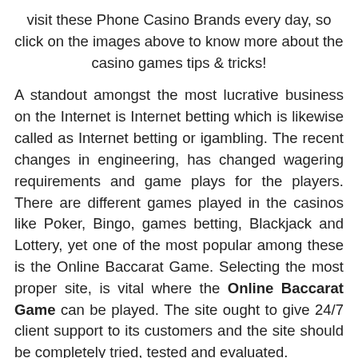visit these Phone Casino Brands every day, so click on the images above to know more about the casino games tips & tricks!
A standout amongst the most lucrative business on the Internet is Internet betting which is likewise called as Internet betting or igambling. The recent changes in engineering, has changed wagering requirements and game plays for the players. There are different games played in the casinos like Poker, Bingo, games betting, Blackjack and Lottery, yet one of the most popular among these is the Online Baccarat Game. Selecting the most proper site, is vital where the Online Baccarat Game can be played. The site ought to give 24/7 client support to its customers and the site should be completely tried, tested and evaluated.